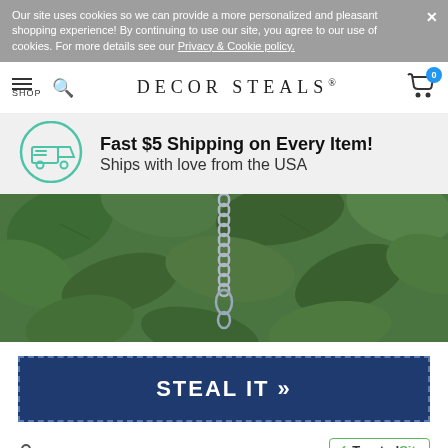Our site uses cookies so we can provide a more personalized and pleasant shopping experience! By continuing to use our site, you agree to our use of cookies. For more details see our Privacy & Cookie policy.
DECOR STEALS®
Fast $5 Shipping on Every Item! Ships with love from the USA
[Figure (photo): Close-up photo of green leaves with a metal chain and hook hanging in the foreground]
STEAL IT »
SECURE TRANSACTION
[Figure (logo): TrustedSite Certified Secure badge with green checkmark]